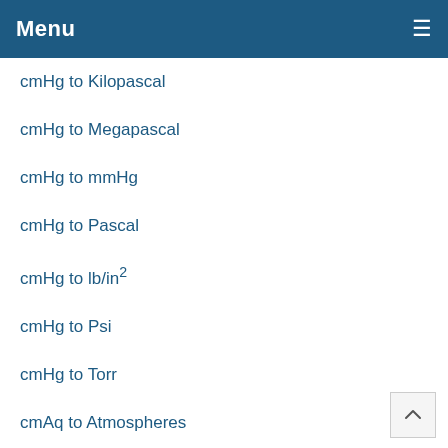Menu
cmHg to Kilopascal
cmHg to Megapascal
cmHg to mmHg
cmHg to Pascal
cmHg to lb/in²
cmHg to Psi
cmHg to Torr
cmAq to Atmospheres
cmAq to Bar
cmAq to cmHg